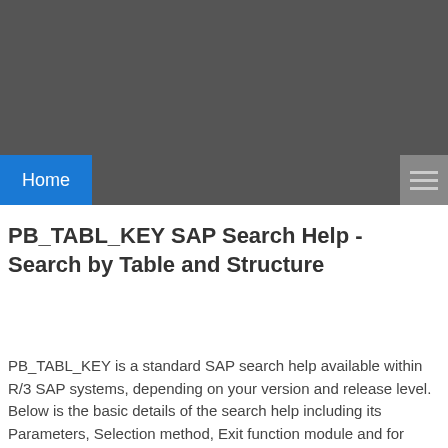[Figure (screenshot): Dark grey header banner area at the top of the webpage]
Home
PB_TABL_KEY SAP Search Help - Search by Table and Structure
PB_TABL_KEY is a standard SAP search help available within R/3 SAP systems, depending on your version and release level. Below is the basic details of the search help including its Parameters, Selection method, Exit function module and for convenience any standard documentation available. All this information and more can be viewed by